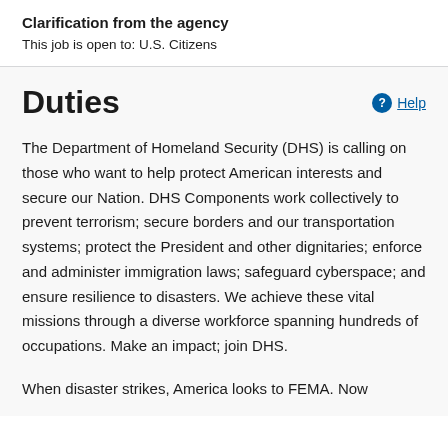Clarification from the agency
This job is open to: U.S. Citizens
Duties
The Department of Homeland Security (DHS) is calling on those who want to help protect American interests and secure our Nation. DHS Components work collectively to prevent terrorism; secure borders and our transportation systems; protect the President and other dignitaries; enforce and administer immigration laws; safeguard cyberspace; and ensure resilience to disasters. We achieve these vital missions through a diverse workforce spanning hundreds of occupations. Make an impact; join DHS.
When disaster strikes, America looks to FEMA. Now